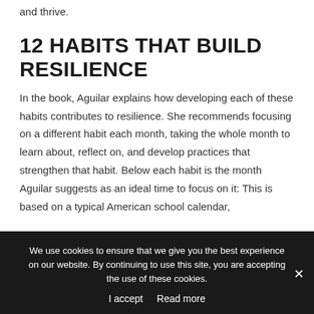and thrive.
12 HABITS THAT BUILD RESILIENCE
In the book, Aguilar explains how developing each of these habits contributes to resilience. She recommends focusing on a different habit each month, taking the whole month to learn about, reflect on, and develop practices that strengthen that habit. Below each habit is the month Aguilar suggests as an ideal time to focus on it: This is based on a typical American school calendar,
We use cookies to ensure that we give you the best experience on our website. By continuing to use this site, you are accepting the use of these cookies.
I accept  Read more